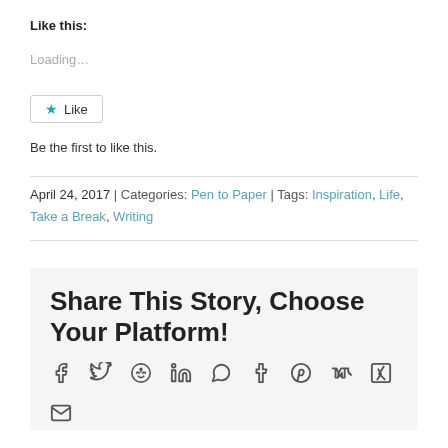Like this:
Loading…
Like
Be the first to like this.
April 24, 2017  |  Categories: Pen to Paper  |  Tags: Inspiration, Life, Take a Break, Writing
Share This Story, Choose Your Platform!
Social share icons: Facebook, Twitter, Reddit, LinkedIn, WhatsApp, Tumblr, Pinterest, VK, XING, Email